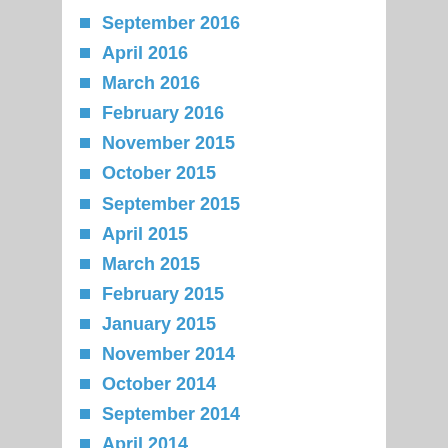September 2016
April 2016
March 2016
February 2016
November 2015
October 2015
September 2015
April 2015
March 2015
February 2015
January 2015
November 2014
October 2014
September 2014
April 2014
March 2014
February 2014
December 2013
November 2013
October 2013
September 2013